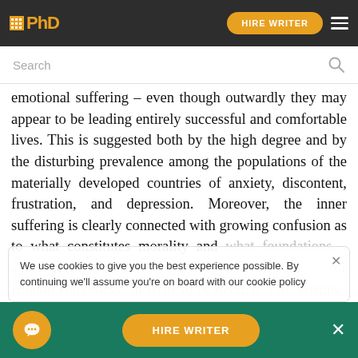IPhD | HIRE WRITER
Search
emotional suffering – even though outwardly they may appear to be leading entirely successful and comfortable lives. This is suggested both by the high degree and by the disturbing prevalence among the populations of the materially developed countries of anxiety, discontent, frustration, and depression. Moreover, the inner suffering is clearly connected with growing confusion as to what constitutes morality and what foundations...for Human Happiness" in Write to be Read, p. 170. Writing Directions Read the passage above and write an essay responding to the ideas it presents. In your essay, be
We use cookies to give you the best experience possible. By continuing we'll assume you're on board with our cookie policy
HIRE WRITER